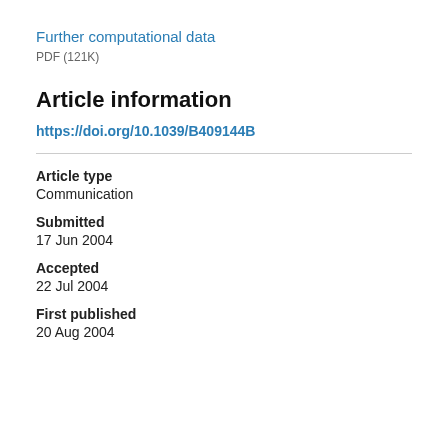Further computational data
PDF (121K)
Article information
https://doi.org/10.1039/B409144B
Article type
Communication
Submitted
17 Jun 2004
Accepted
22 Jul 2004
First published
20 Aug 2004